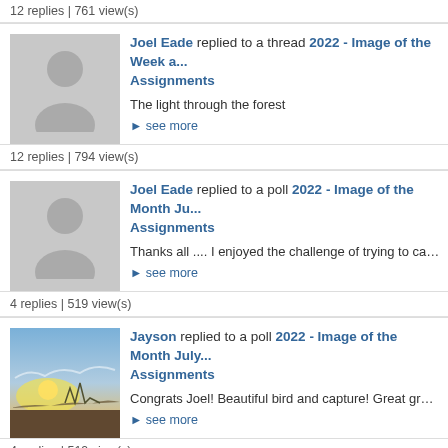12 replies | 761 view(s)
Joel Eade replied to a thread 2022 - Image of the Week a... Assignments
The light through the forest
see more
12 replies | 794 view(s)
Joel Eade replied to a poll 2022 - Image of the Month Ju... Assignments
Thanks all .... I enjoyed the challenge of trying to capture a relatively
see more
4 replies | 519 view(s)
Jayson replied to a poll 2022 - Image of the Month July... Assignments
[Figure (photo): Landscape photo with sky, sun, and horizon]
Congrats Joel! Beautiful bird and capture! Great group of entries here
see more
4 replies | 519 view(s)
Jayson replied to a thread 2022 - Image of the Week #3...
[Figure (photo): Sky photo with clouds]